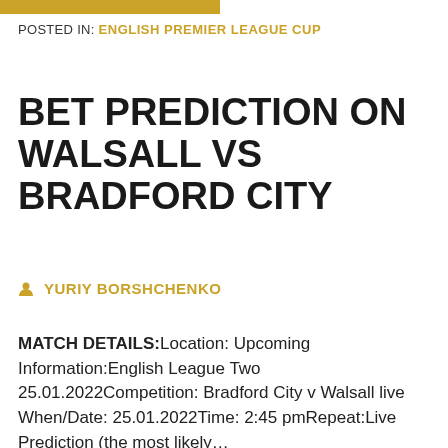POSTED IN: ENGLISH PREMIER LEAGUE CUP
BET PREDICTION ON WALSALL VS BRADFORD CITY
YURIY BORSHCHENKO
MATCH DETAILS:Location: Upcoming Information:English League Two 25.01.2022Competition: Bradford City v Walsall live When/Date: 25.01.2022Time: 2:45 pmRepeat:Live Prediction (the most likely...